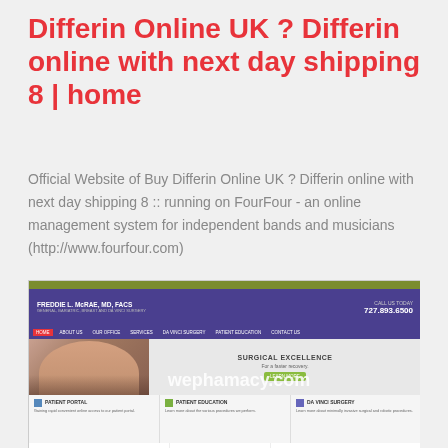Differin Online UK ? Differin online with next day shipping 8 | home
Official Website of Buy Differin Online UK ? Differin online with next day shipping 8 :: running on FourFour - an online management system for independent bands and musicians (http://www.fourfour.com)
[Figure (screenshot): Screenshot of a medical practice website for Freddie L. McRae, MD, FACS showing navigation, hero image with couple, surgical excellence text, patient portal, patient education, da vinci surgery sections, and watermark text 'wephamacy.com']